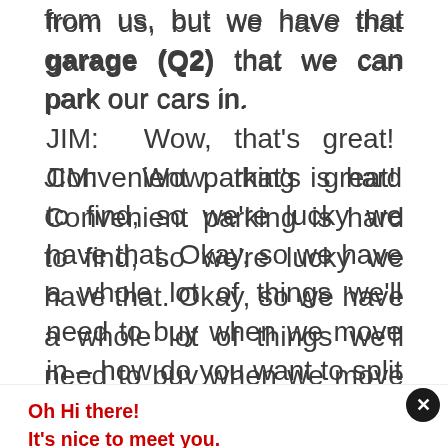PETER: Well, the bus is actually pretty far from us, but we have that garage (Q2) that we can park our cars in. JIM: Wow, that's great! Convenient parking is hard to find, so we're lucky we have that. Okay, so we have a whole lot of things we'll need to buy when we move in – how do you want to split that
Oh Hi there!
It's nice to meet you.

Sign up to receive awesome content in your inbox, every week.
[Figure (infographic): Social sharing bar with icons: Messenger (blue), Gmail (red), Telegram (blue), Pocket (pink/red), WhatsApp (green), More (gray/plus)]